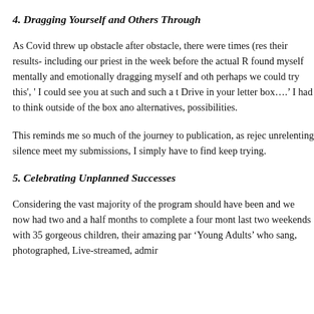4. Dragging Yourself and Others Through
As Covid threw up obstacle after obstacle, there were times (res their results- including our priest in the week before the actual R found myself mentally and emotionally dragging myself and oth perhaps we could try this', ' I could see you at such and such a t Drive in your letter box….' I had to think outside of the box and alternatives, possibilities.
This reminds me so much of the journey to publication, as rejec unrelenting silence meet my submissions, I simply have to find keep trying.
5. Celebrating Unplanned Successes
Considering the vast majority of the program should have been and we now had two and a half months to complete a four mont last two weekends with 35 gorgeous children, their amazing par 'Young Adults' who sang, photographed, Live-streamed, admir